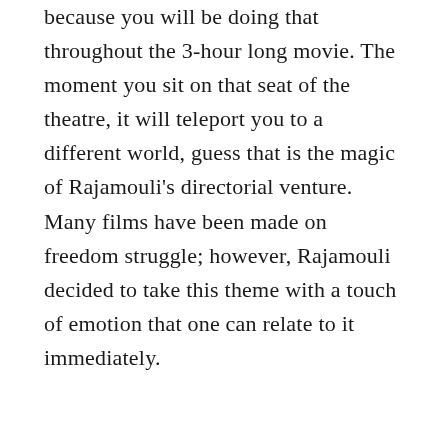because you will be doing that throughout the 3-hour long movie. The moment you sit on that seat of the theatre, it will teleport you to a different world, guess that is the magic of Rajamouli's directorial venture. Many films have been made on freedom struggle; however, Rajamouli decided to take this theme with a touch of emotion that one can relate to it immediately.